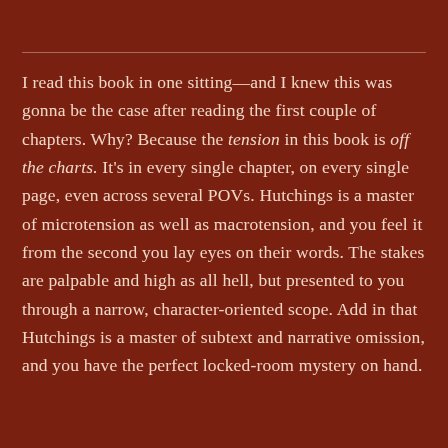I read this book in one sitting—and I knew this was gonna be the case after reading the first couple of chapters. Why? Because the tension in this book is off the charts. It's in every single chapter, on every single page, even across several POVs. Hutchings is a master of microtension as well as macrotension, and you feel it from the second you lay eyes on their words. The stakes are palpable and high as all hell, but presented to you through a narrow, character-oriented scope. Add in that Hutchings is a master of subtext and narrative omission, and you have the perfect locked-room mystery on hand.